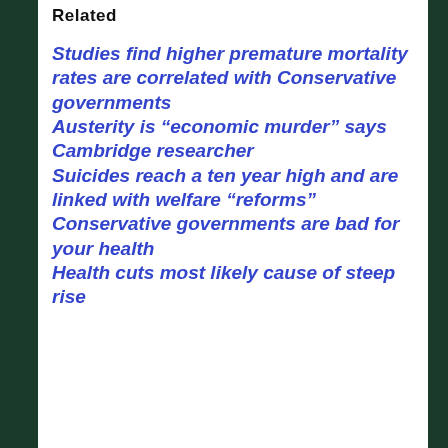Related
Studies find higher premature mortality rates are correlated with Conservative governments
Austerity is “economic murder” says Cambridge researcher
Suicides reach a ten year high and are linked with welfare “reforms”
Conservative governments are bad for your health
Health cuts most likely cause of steep rise